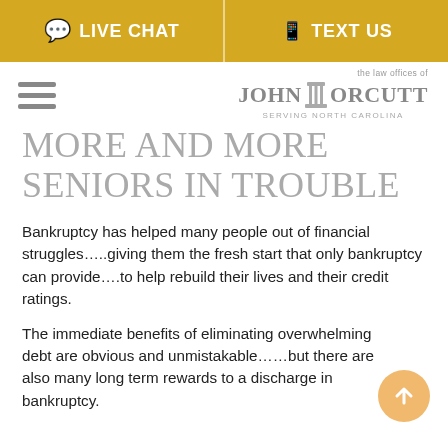LIVE CHAT   TEXT US
[Figure (logo): The law offices of John T Orcutt - Serving North Carolina logo with pillar graphic]
MORE AND MORE SENIORS IN TROUBLE
Bankruptcy has helped many people out of financial struggles…..giving them the fresh start that only bankruptcy can provide….to help rebuild their lives and their credit ratings.
The immediate benefits of eliminating overwhelming debt are obvious and unmistakable……but there are also many long term rewards to a discharge in bankruptcy.